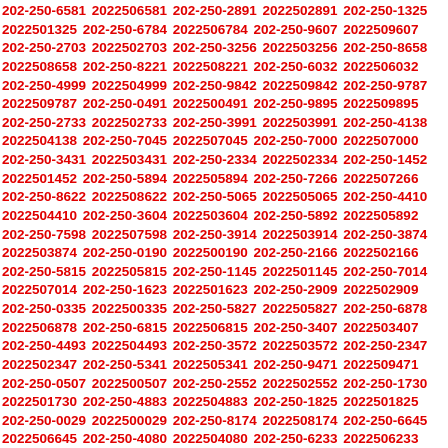202-250-6581 2022506581 202-250-2891 2022502891 202-250-1325 2022501325 202-250-6784 2022506784 202-250-9607 2022509607 202-250-2703 2022502703 202-250-3256 2022503256 202-250-8658 2022508658 202-250-8221 2022508221 202-250-6032 2022506032 202-250-4999 2022504999 202-250-9842 2022509842 202-250-9787 2022509787 202-250-0491 2022500491 202-250-9895 2022509895 202-250-2733 2022502733 202-250-3991 2022503991 202-250-4138 2022504138 202-250-7045 2022507045 202-250-7000 2022507000 202-250-3431 2022503431 202-250-2334 2022502334 202-250-1452 2022501452 202-250-5894 2022505894 202-250-7266 2022507266 202-250-8622 2022508622 202-250-5065 2022505065 202-250-4410 2022504410 202-250-3604 2022503604 202-250-5892 2022505892 202-250-7598 2022507598 202-250-3914 2022503914 202-250-3874 2022503874 202-250-0190 2022500190 202-250-2166 2022502166 202-250-5815 2022505815 202-250-1145 2022501145 202-250-7014 2022507014 202-250-1623 2022501623 202-250-2909 2022502909 202-250-0335 2022500335 202-250-5827 2022505827 202-250-6878 2022506878 202-250-6815 2022506815 202-250-3407 2022503407 202-250-4493 2022504493 202-250-3572 2022503572 202-250-2347 2022502347 202-250-5341 2022505341 202-250-9471 2022509471 202-250-0507 2022500507 202-250-2552 2022502552 202-250-1730 2022501730 202-250-4883 2022504883 202-250-1825 2022501825 202-250-0029 2022500029 202-250-8174 2022508174 202-250-6645 2022506645 202-250-4080 2022504080 202-250-6233 2022506233 202-250-5245 2022505245 202-250-0808 2022500808 202-250-4187